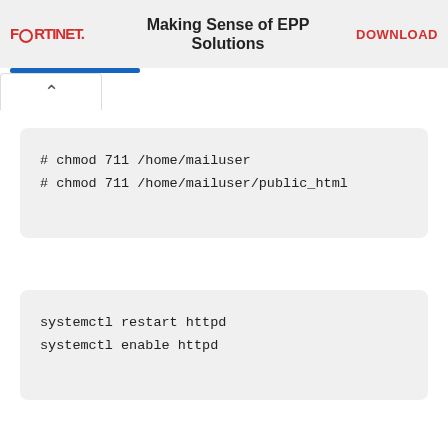FORTINET | Making Sense of EPP Solutions | DOWNLOAD
^
# chmod 711 /home/mailuser
# chmod 711 /home/mailuser/public_html
systemctl restart httpd
systemctl enable httpd